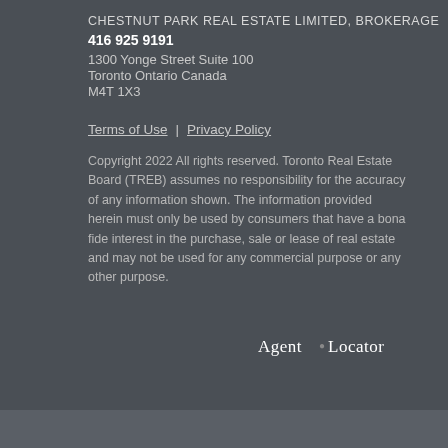CHESTNUT PARK REAL ESTATE LIMITED, BROKERAGE
416 925 9191
1300 Yonge Street Suite 100
Toronto Ontario Canada
M4T 1X3
Terms of Use  |  Privacy Policy
Copyright 2022 All rights reserved. Toronto Real Estate Board (TREB) assumes no responsibility for the accuracy of any information shown. The information provided herein must only be used by consumers that have a bona fide interest in the purchase, sale or lease of real estate and may not be used for any commercial purpose or any other purpose.
[Figure (logo): AgentLocator logo text in white serif font]